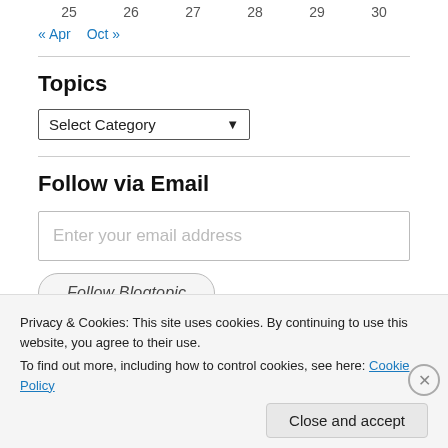25  26  27  28  29  30
« Apr  Oct »
Topics
Select Category
Follow via Email
Enter your email address
Follow Blogtopic
Privacy & Cookies: This site uses cookies. By continuing to use this website, you agree to their use.
To find out more, including how to control cookies, see here: Cookie Policy
Close and accept